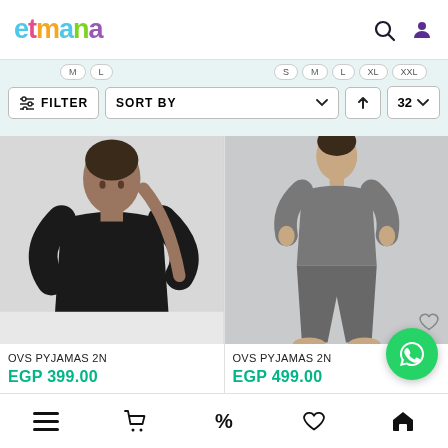[Figure (screenshot): Etmana e-commerce website header with colorful logo and search/profile icons]
[Figure (screenshot): Filter bar with FILTER button, SORT BY dropdown, upload button, and 32 count selector]
[Figure (photo): Man wearing black long-sleeve top, seated, product: OVS PYJAMAS 2N]
OVS PYJAMAS 2N
EGP 399.00
[Figure (photo): Man wearing grey pyjama set (top and trousers), standing, product: OVS PYJAMAS 2N]
OVS PYJAMAS 2N
EGP 499.00
[Figure (screenshot): Bottom navigation bar with menu, cart, discount, heart, and home icons]